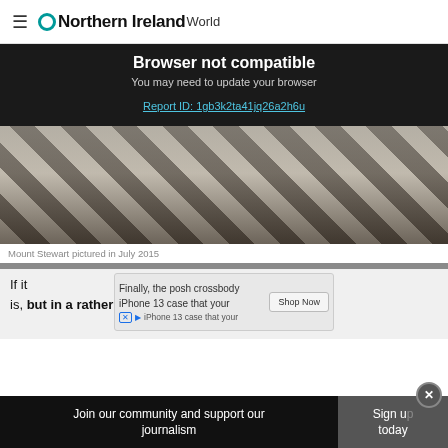ONorthern Ireland World
Browser not compatible
You may need to update your browser
Report ID: 1gb3k2ta41jq26a2h6u
[Figure (photo): Interior hall with black and white checkered marble floor, columns and windows visible in background]
Mount Stewart pictured in July 2015
If it ... , it is, but in a rather special way.
[Figure (screenshot): Advertisement overlay: Finally, the posh crossbody iPhone 13 case that your — Shop Now button]
Join our community and support our journalism Sign up today